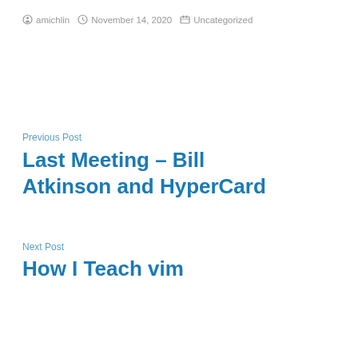amichlin   November 14, 2020   Uncategorized
Previous Post
Last Meeting – Bill Atkinson and HyperCard
Next Post
How I Teach vim